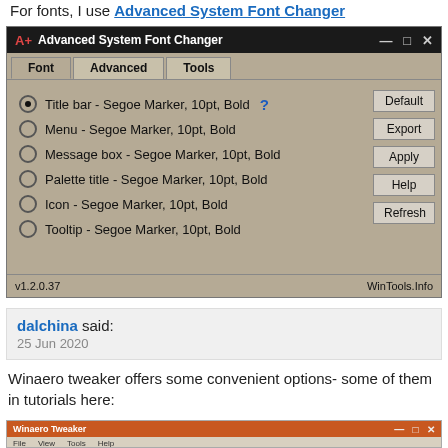For fonts, I use Advanced System Font Changer
[Figure (screenshot): Advanced System Font Changer application window showing font settings: Title bar, Menu, Message box, Palette title, Icon, Tooltip — all set to Segoe Marker, 10pt, Bold. Buttons: Default, Export, Apply, Help, Refresh. Version v1.2.0.37, WinTools.Info]
dalchina said:
25 Jun 2020
Winaero tweaker offers some convenient options- some of them in tutorials here:
[Figure (screenshot): Winaero Tweaker application window (partial/cropped at bottom of page)]